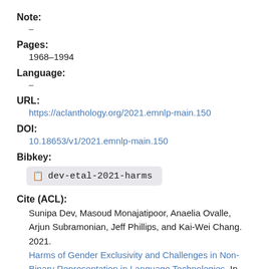Note:
–
Pages:
1968–1994
Language:
–
URL:
https://aclanthology.org/2021.emnlp-main.150
DOI:
10.18653/v1/2021.emnlp-main.150
Bibkey:
dev-etal-2021-harms
Cite (ACL):
Sunipa Dev, Masoud Monajatipoor, Anaelia Ovalle, Arjun Subramonian, Jeff Phillips, and Kai-Wei Chang. 2021. Harms of Gender Exclusivity and Challenges in Non-Binary Representation in Language Technologies. In